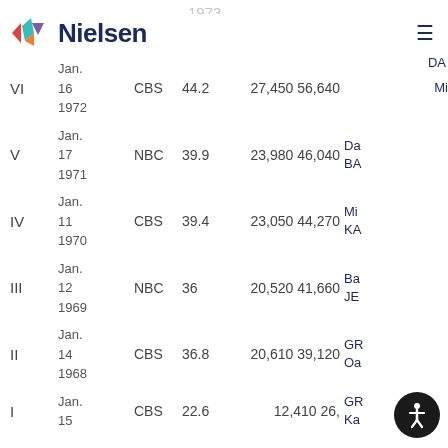Nielsen
| Edition | Date | Network | Rating | Viewers (000s) | Info |
| --- | --- | --- | --- | --- | --- |
| VI | Jan. 16 1972 | CBS | 44.2 | 27,450 56,640 | Mi... |
| V | Jan. 17 1971 | NBC | 39.9 | 23,980 46,040 | Da... BA... |
| IV | Jan. 11 1970 | CBS | 39.4 | 23,050 44,270 | Mi... KA... |
| III | Jan. 12 1969 | NBC | 36 | 20,520 41,660 | Ba... JE... |
| II | Jan. 14 1968 | CBS | 36.8 | 20,610 39,120 | GR... Oa... |
| I | Jan. 15 | CBS | 22.6 | 12,410 26,... | GR... Ka... |